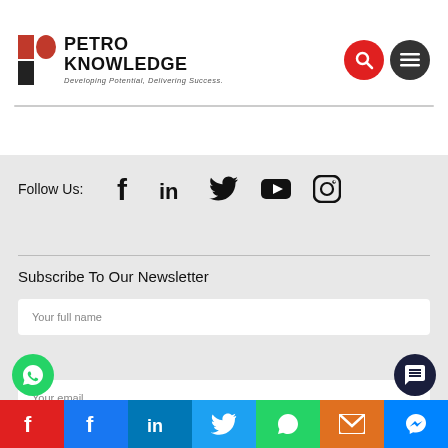[Figure (logo): Petro Knowledge logo with red P icon and text 'PETRO KNOWLEDGE', tagline 'Developing Potential, Delivering Success.']
[Figure (infographic): Social media follow icons: Facebook, LinkedIn, Twitter, YouTube, Instagram with 'Follow Us:' label]
Subscribe To Our Newsletter
Your full name
Your email
[Figure (infographic): Bottom share bar with colored icons: red partial, Facebook, LinkedIn, Twitter, WhatsApp, Email, Messenger]
[Figure (infographic): Floating WhatsApp green circle button and dark chat bubble button]